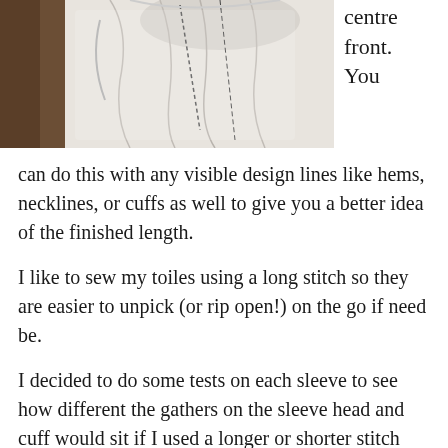[Figure (photo): A dressmaking toile on a dress form showing white fabric draped and pinned, with visible markings/lines on the fabric.]
centre front. You can do this with any visible design lines like hems, necklines, or cuffs as well to give you a better idea of the finished length.
I like to sew my toiles using a long stitch so they are easier to unpick (or rip open!) on the go if need be.
I decided to do some tests on each sleeve to see how different the gathers on the sleeve head and cuff would sit if I used a longer or shorter stitch length. The longer stitch length created larger tucks which made a slightly rounder,